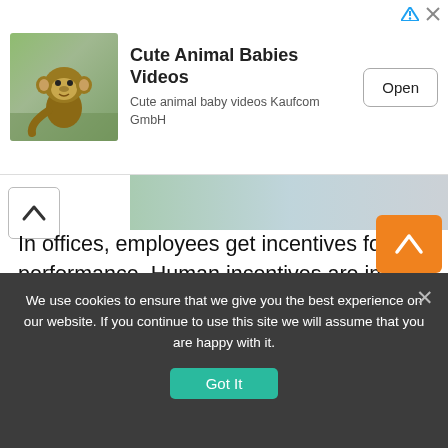[Figure (other): Advertisement banner: Cute Animal Babies Videos app ad with monkey image, 'Open' button, and ad indicator icons]
In offices, employees get incentives for their performance. Human incentives are in the form of cash or goodies. The good thing about humans is that they can choose what to do with the reward or incentive. However, the dogs can't spend the rewards of their own will. When the trainers …
Read More »
We use cookies to ensure that we give you the best experience on our website. If you continue to use this site we will assume that you are happy with it.